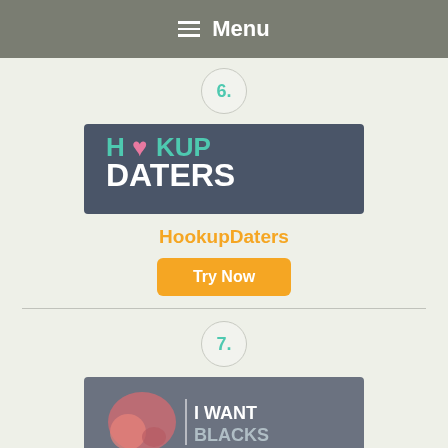Menu
6.
[Figure (logo): HookupDaters logo with teal and pink text on dark background]
HookupDaters
Try Now
7.
[Figure (logo): IWantBlacks logo with pink/coral graphic and text on gray background]
IWantBlacks
Try Now